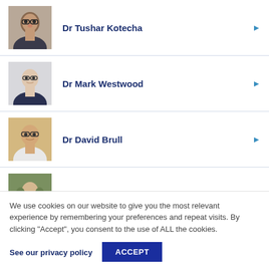Dr Tushar Kotecha
Dr Mark Westwood
Dr David Brull
Dr Richard Carroll
We use cookies on our website to give you the most relevant experience by remembering your preferences and repeat visits. By clicking “Accept”, you consent to the use of ALL the cookies.
See our privacy policy
ACCEPT